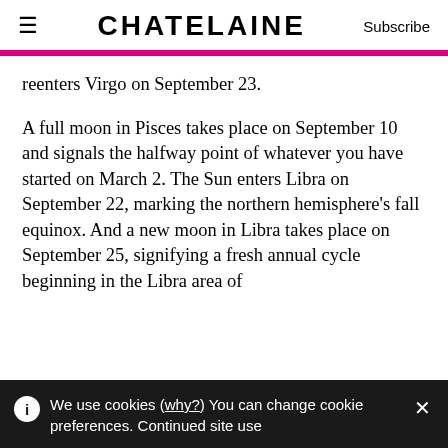CHATELAINE — Subscribe
reenters Virgo on September 23.
A full moon in Pisces takes place on September 10 and signals the halfway point of whatever you have started on March 2. The Sun enters Libra on September 22, marking the northern hemisphere's fall equinox. And a new moon in Libra takes place on September 25, signifying a fresh annual cycle beginning in the Libra area of
We use cookies (why?) You can change cookie preferences. Continued site use